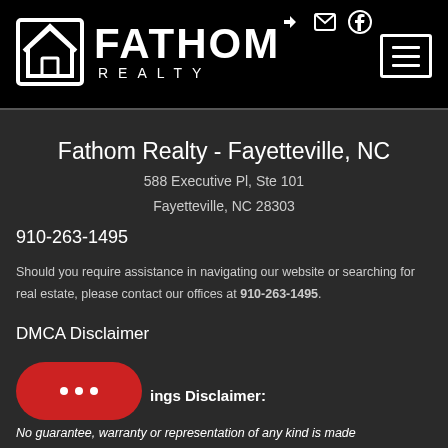Fathom Realty logo and navigation header
Fathom Realty - Fayetteville, NC
588 Executive Pl, Ste 101
Fayetteville, NC 28303
910-263-1495
Should you require assistance in navigating our website or searching for real estate, please contact our offices at 910-263-1495.
DMCA Disclaimer
Listings Disclaimer:
No guarantee, warranty or representation of any kind is made